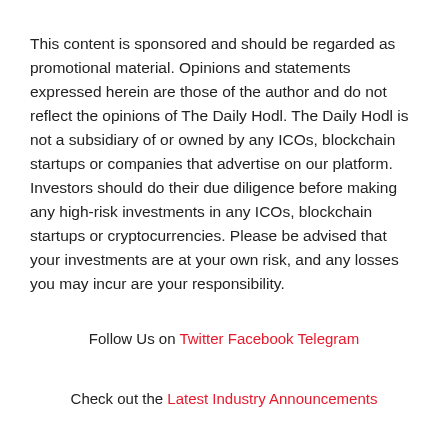This content is sponsored and should be regarded as promotional material. Opinions and statements expressed herein are those of the author and do not reflect the opinions of The Daily Hodl. The Daily Hodl is not a subsidiary of or owned by any ICOs, blockchain startups or companies that advertise on our platform. Investors should do their due diligence before making any high-risk investments in any ICOs, blockchain startups or cryptocurrencies. Please be advised that your investments are at your own risk, and any losses you may incur are your responsibility.
Follow Us on Twitter Facebook Telegram
Check out the Latest Industry Announcements